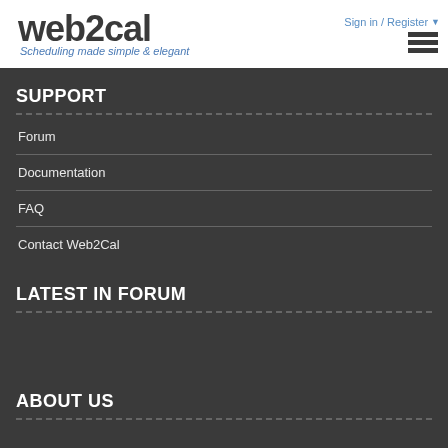web2cal - Scheduling made simple & elegant | Sign in / Register
SUPPORT
Forum
Documentation
FAQ
Contact Web2Cal
LATEST IN FORUM
ABOUT US